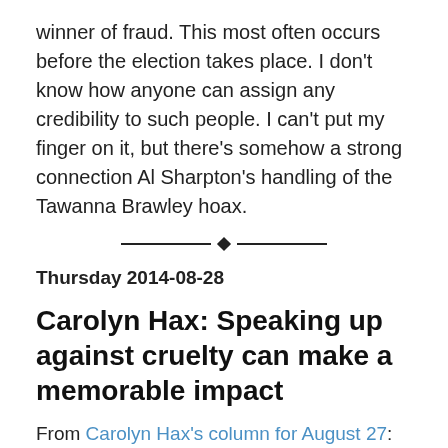winner of fraud. This most often occurs before the election takes place. I don't know how anyone can assign any credibility to such people. I can't put my finger on it, but there's somehow a strong connection Al Sharpton's handling of the Tawanna Brawley hoax.
— ♦ —
Thursday 2014-08-28
Carolyn Hax: Speaking up against cruelty can make a memorable impact
From Carolyn Hax's column for August 27:
I was bullied viciously through most of my childhood. My parents assumed it was my fault and punished me rather